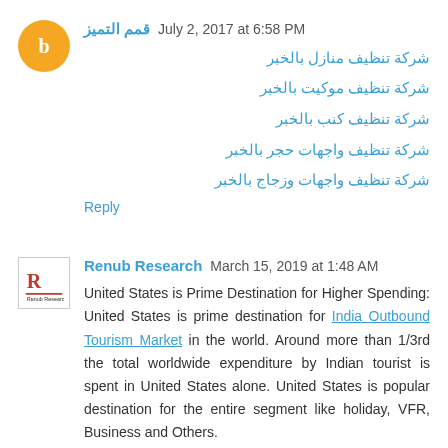قمم التميز July 2, 2017 at 6:58 PM
شركة تنظيف منازل بالخبر
شركة تنظيف موكيت بالخبر
شركة تنظيف كنب بالخبر
شركة تنظيف واجهات حجر بالخبر
شركة تنظيف واجهات وزجاج بالخبر
Reply
Renub Research March 15, 2019 at 1:48 AM
United States is Prime Destination for Higher Spending: United States is prime destination for India Outbound Tourism Market in the world. Around more than 1/3rd the total worldwide expenditure by Indian tourist is spent in United States alone. United States is popular destination for the entire segment like holiday, VFR, Business and Others.
Reply